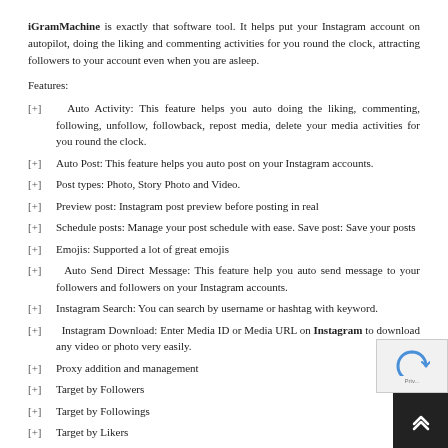iGramMachine is exactly that software tool. It helps put your Instagram account on autopilot, doing the liking and commenting activities for you round the clock, attracting followers to your account even when you are asleep.
Features:
[+]   Auto Activity: This feature helps you auto doing the liking, commenting, following, unfollow, followback, repost media, delete your media activities for you round the clock.
[+]   Auto Post: This feature helps you auto post on your Instagram accounts.
[+]   Post types: Photo, Story Photo and Video.
[+]   Preview post: Instagram post preview before posting in real
[+]   Schedule posts: Manage your post schedule with ease. Save post: Save your posts
[+]   Emojis: Supported a lot of great emojis
[+]   Auto Send Direct Message: This feature help you auto send message to your followers and followers on your Instagram accounts.
[+]   Instagram Search: You can search by username or hashtag with keyword.
[+]   Instagram Download: Enter Media ID or Media URL on Instagram to download any video or photo very easily.
[+]   Proxy addition and management
[+]   Target by Followers
[+]   Target by Followings
[+]   Target by Likers
[+]   Target by Commenters